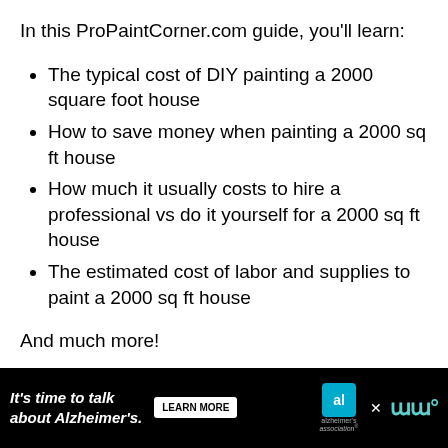In this ProPaintCorner.com guide, you'll learn:
The typical cost of DIY painting a 2000 square foot house
How to save money when painting a 2000 sq ft house
How much it usually costs to hire a professional vs do it yourself for a 2000 sq ft house
The estimated cost of labor and supplies to paint a 2000 sq ft house
And much more!
[Figure (other): Advertisement banner: It's time to talk about Alzheimer's. LEARN MORE button, Alzheimer's Association logo, close button, and Merriam-Webster logo.]